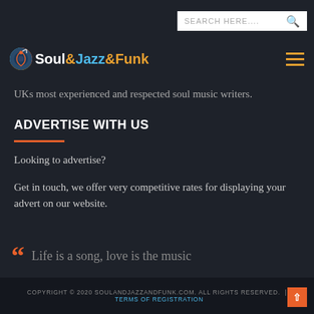Soul&Jazz&Funk — Search Here....
[Figure (logo): Soul&Jazz&Funk logo with musical note icon]
UKs most experienced and respected soul music writers.
ADVERTISE WITH US
Looking to advertise?
Get in touch, we offer very competitive rates for displaying your advert on our website.
Life is a song, love is the music
COPYRIGHT © 2020 SOULANDJAZZANDFUNK.COM. ALL RIGHTS RESERVED. | TERMS OF REGISTRATION